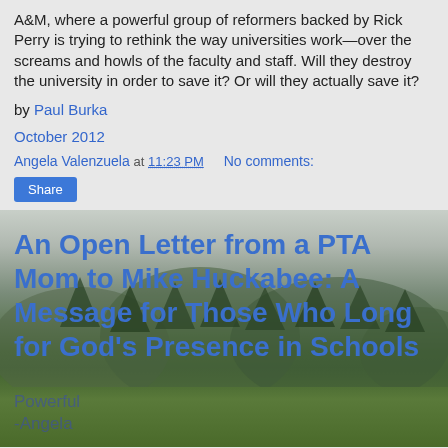A&M, where a powerful group of reformers backed by Rick Perry is trying to rethink the way universities work—over the screams and howls of the faculty and staff. Will they destroy the university in order to save it? Or will they actually save it?
by Paul Burka
October 2012
Angela Valenzuela at 11:23 PM   No comments:
Share
An Open Letter from a PTA Mom to Mike Huckabee: A Message for Those Who Long for God's Presence in Schools
Powerful
-Angela